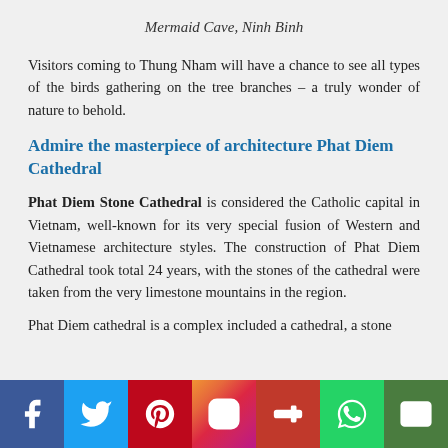Mermaid Cave, Ninh Binh
Visitors coming to Thung Nham will have a chance to see all types of the birds gathering on the tree branches – a truly wonder of nature to behold.
Admire the masterpiece of architecture Phat Diem Cathedral
Phat Diem Stone Cathedral is considered the Catholic capital in Vietnam, well-known for its very special fusion of Western and Vietnamese architecture styles. The construction of Phat Diem Cathedral took total 24 years, with the stones of the cathedral were taken from the very limestone mountains in the region.
Phat Diem cathedral is a complex included a cathedral, a stone